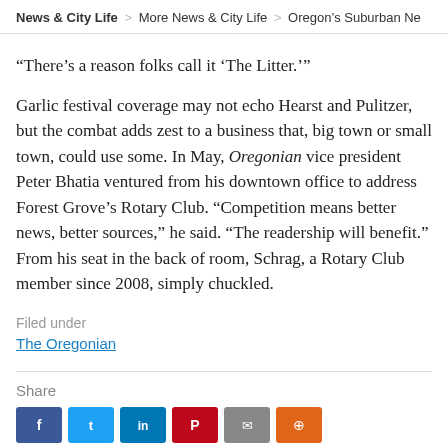News & City Life > More News & City Life > Oregon's Suburban Ne
“There’s a reason folks call it ‘The Litter.’”
Garlic festival coverage may not echo Hearst and Pulitzer, but the combat adds zest to a business that, big town or small town, could use some. In May, Oregonian vice president Peter Bhatia ventured from his downtown office to address Forest Grove’s Rotary Club. “Competition means better news, better sources,” he said. “The readership will benefit.” From his seat in the back of room, Schrag, a Rotary Club member since 2008, simply chuckled.
Filed under
The Oregonian
Share